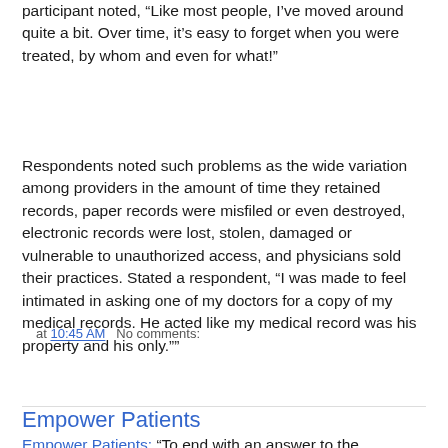participant noted, “Like most people, I’ve moved around quite a bit. Over time, it’s easy to forget when you were treated, by whom and even for what!”
Respondents noted such problems as the wide variation among providers in the amount of time they retained records, paper records were misfiled or even destroyed, electronic records were lost, stolen, damaged or vulnerable to unauthorized access, and physicians sold their practices. Stated a respondent, “I was made to feel intimated in asking one of my doctors for a copy of my medical records. He acted like my medical record was his property and his only.””
at 10:45 AM   No comments:
Share
Empower Patients
Empower Patients: “To end with an answer to the question, ultimately IMHO, the purpose of the medication search is the